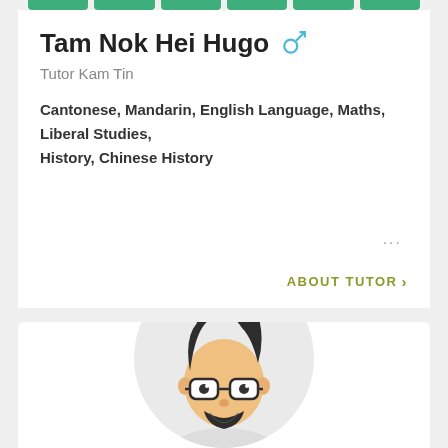Tam Nok Hei Hugo
Tutor Kam Tin
Cantonese, Mandarin, English Language, Maths, Liberal Studies, History, Chinese History
...
ABOUT TUTOR >
[Figure (illustration): Cartoon illustration of a young male tutor with dark spiky hair, glasses, and beard, shown from shoulders up, within a circular light grey background]